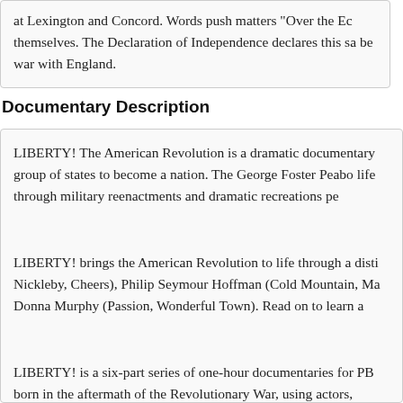at Lexington and Concord. Words push matters "Over the Edge" themselves. The Declaration of Independence declares this sa be war with England.
Documentary Description
LIBERTY! The American Revolution is a dramatic documentary group of states to become a nation. The George Foster Peabo life through military reenactments and dramatic recreations pe
LIBERTY! brings the American Revolution to life through a disti Nickleby, Cheers), Philip Seymour Hoffman (Cold Mountain, Ma Donna Murphy (Passion, Wonderful Town). Read on to learn a
LIBERTY! is a six-part series of one-hour documentaries for PB born in the aftermath of the Revolutionary War, using actors,